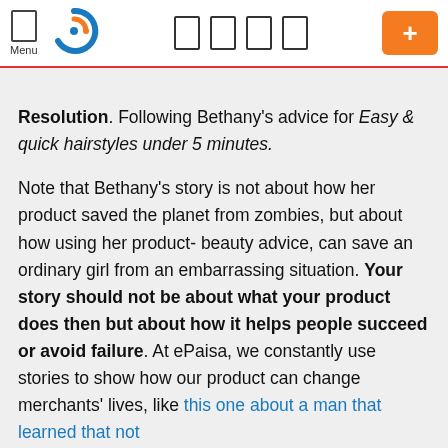Menu [logo] [icons] [+]
Resolution. Following Bethany's advice for Easy & quick hairstyles under 5 minutes.

Note that Bethany's story is not about how her product saved the planet from zombies, but about how using her product- beauty advice, can save an ordinary girl from an embarrassing situation. Your story should not be about what your product does then but about how it helps people succeed or avoid failure. At ePaisa, we constantly use stories to show how our product can change merchants' lives, like this one about a man that learned that not embracing technology can be costly.